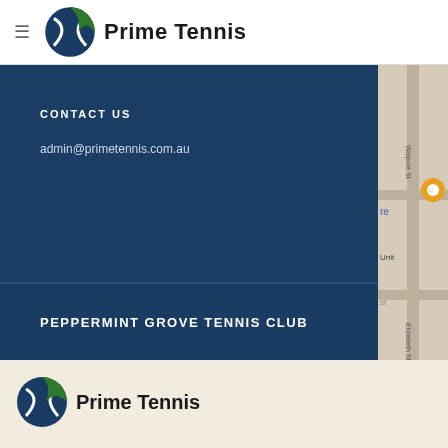Prime Tennis
CONTACT US
admin@primetennis.com.au
[Figure (map): Partial street map showing Walpole St and Elizabeth St with a location pin marker]
PEPPERMINT GROVE TENNIS CLUB
[Figure (logo): Prime Tennis logo with circular globe icon and bold text Prime Tennis on cream background]